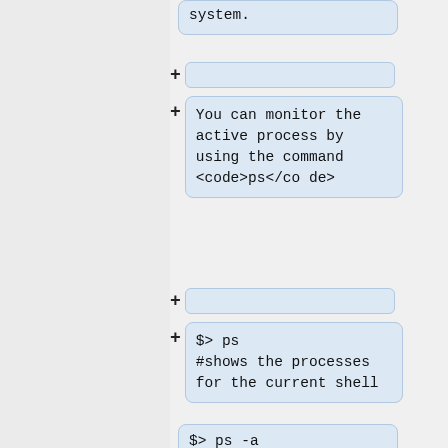system.
+
You can monitor the active process by using the command <code>ps</code>
+
$>  ps
#shows the processes for the current shell
+
$>  ps -a